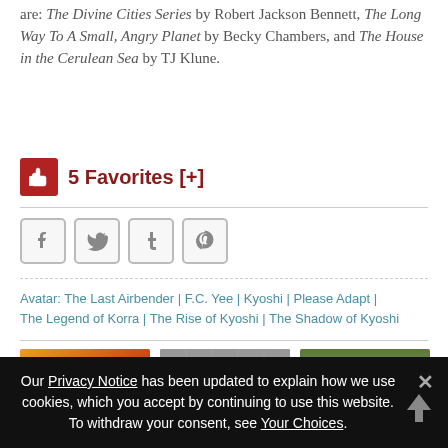are: The Divine Cities Series by Robert Jackson Bennett, The Long Way To A Small, Angry Planet by Becky Chambers, and The House in the Cerulean Sea by TJ Klune.
5 Favorites [+]
[Figure (infographic): Row of four social sharing icon buttons: Facebook, Twitter, Tumblr, Pinterest]
Avatar: The Last Airbender | F.C. Yee | Kyoshi | Please Adapt | The Legend of Korra | The Rise of Kyoshi | The Shadow of Kyoshi
[Figure (photo): Three thumbnail images in a row: animated character, angry emoji face with #%!& text, and a painted figure]
Our Privacy Notice has been updated to explain how we use cookies, which you accept by continuing to use this website. To withdraw your consent, see Your Choices.